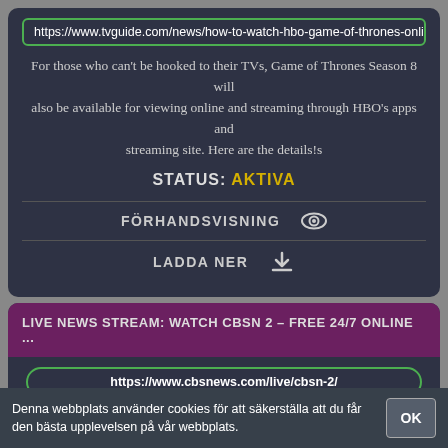https://www.tvguide.com/news/how-to-watch-hbo-game-of-thrones-onli
For those who can't be hooked to their TVs, Game of Thrones Season 8 will also be available for viewing online and streaming through HBO's apps and streaming site. Here are the details!s
STATUS: AKTIVA
FÖRHANDSVISNING
LADDA NER
LIVE NEWS STREAM: WATCH CBSN 2 – FREE 24/7 ONLINE ...
https://www.cbsnews.com/live/cbsn-2/
Doctor, nurse practitioner use own money to provide health care in rural Texas; Gil Schwartz, former CBS communications chief, has died at 68;
Denna webbplats använder cookies för att säkerställa att du får den bästa upplevelsen på vår webbplats.